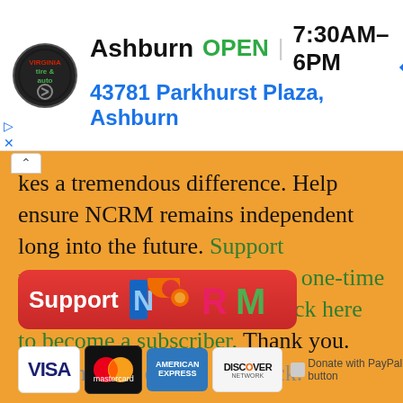[Figure (infographic): Advertisement banner: Virginia Tire & Auto logo (circular black badge), business name 'Ashburn', status 'OPEN', hours '7:30AM–6PM', address '43781 Parkhurst Plaza, Ashburn', navigation arrow icon (blue diamond)]
...kes a tremendous difference. Help ensure NCRM remains independent long into the future. Support progressive journalism with a one-time contribution to NCRM, or click here to become a subscriber. Thank you. Click here to donate by check.
[Figure (infographic): Red 'Support' button with NCRM logo (colorful letter shapes N, C, R, M in blue, orange, pink, green)]
[Figure (infographic): Payment method icons: VISA, Mastercard, American Express, Discover Network, and Donate with PayPal button]